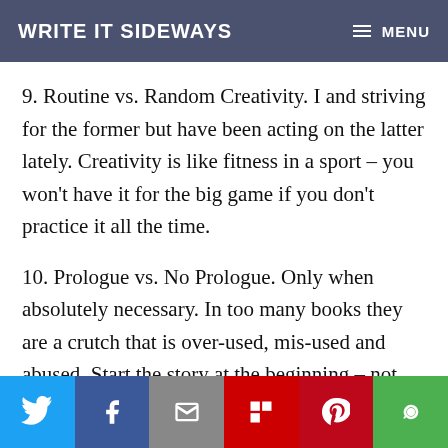WRITE IT SIDEWAYS   ≡ MENU
9. Routine vs. Random Creativity. I and striving for the former but have been acting on the latter lately. Creativity is like fitness in a sport – you won't have it for the big game if you don't practice it all the time.
10. Prologue vs. No Prologue. Only when absolutely necessary. In too many books they are a crutch that is over-used, mis-used and abused. Start the story at the beginning – not ten years before, etc. However, in some genres